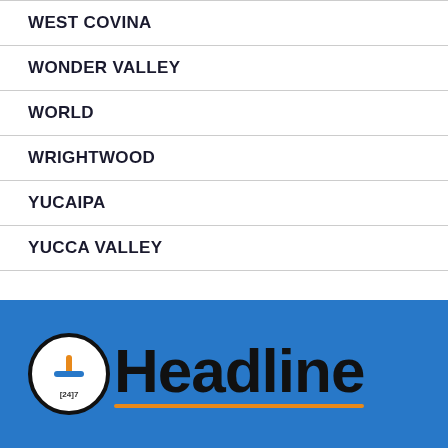WEST COVINA
WONDER VALLEY
WORLD
WRIGHTWOOD
YUCAIPA
YUCCA VALLEY
[Figure (logo): 24/7 Headline news logo with circular icon containing an orange plus/clock symbol and blue horizontal bar, with text '[24]7' below, followed by the word 'Headline' in large black bold font with an orange underline, on a blue background]